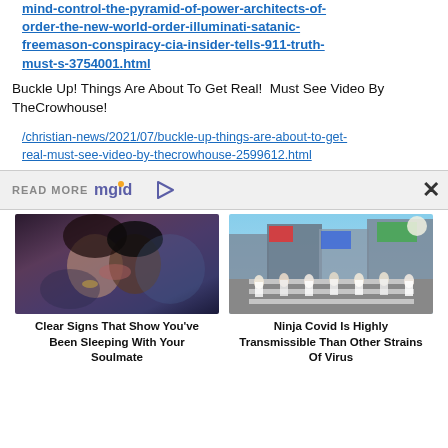mind-control-the-pyramid-of-power-architects-of-order-the-new-world-order-illuminati-satanic-freemason-conspiracy-cia-insider-tells-911-truth-must-s-3754001.html
Buckle Up! Things Are About To Get Real!  Must See Video By TheCrowhouse!
/christian-news/2021/07/buckle-up-things-are-about-to-get-real-must-see-video-by-thecrowhouse-2599612.html
READ MORE
[Figure (photo): Couple kissing at an event]
Clear Signs That Show You've Been Sleeping With Your Soulmate
[Figure (photo): Crowd of people wearing masks crossing a busy street intersection in an Asian city]
Ninja Covid Is Highly Transmissible Than Other Strains Of Virus